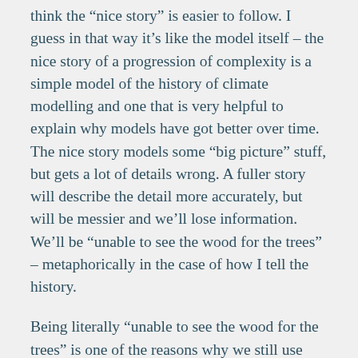think the “nice story” is easier to follow. I guess in that way it’s like the model itself – the nice story of a progression of complexity is a simple model of the history of climate modelling and one that is very helpful to explain why models have got better over time. The nice story models some “big picture” stuff, but gets a lot of details wrong. A fuller story will describe the detail more accurately, but will be messier and we’ll lose information. We’ll be “unable to see the wood for the trees” – metaphorically in the case of how I tell the history.
Being literally “unable to see the wood for the trees” is one of the reasons why we still use simple climate models today. A thorough modelling of all the details can sometimes lose something. Earlier in my career I came across the concept of the “missing sunlight” –